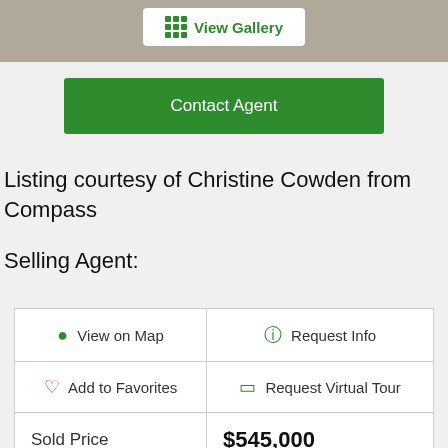[Figure (photo): Top photo strip of a cracked pavement/ground surface with a View Gallery button overlay]
Contact Agent
Listing courtesy of Christine Cowden from Compass
Selling Agent:
| View on Map | Request Info |
| Add to Favorites | Request Virtual Tour |
| Sold Price | $545,000 |